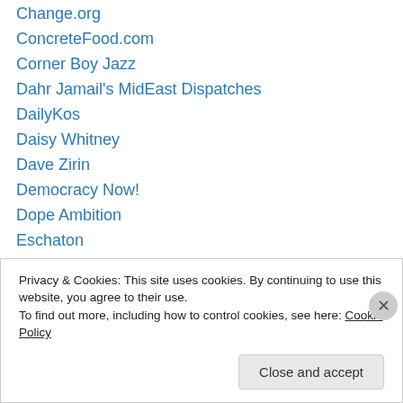Change.org
ConcreteFood.com
Corner Boy Jazz
Dahr Jamail's MidEast Dispatches
DailyKos
Daisy Whitney
Dave Zirin
Democracy Now!
Dope Ambition
Eschaton
Fairness & Accuracy In Reporting (FAIR)
Friends We Love
Huffington Post
Privacy & Cookies: This site uses cookies. By continuing to use this website, you agree to their use.
To find out more, including how to control cookies, see here: Cookie Policy
Close and accept